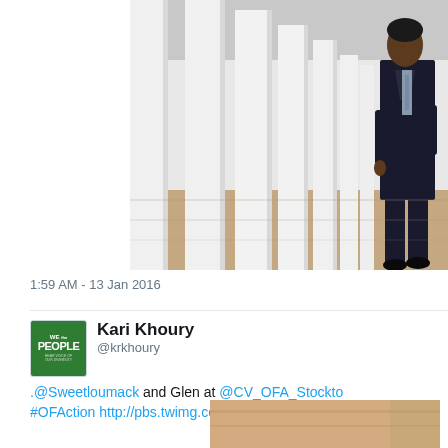[Figure (photo): Person in dark suit walking along a colonnade with white columns, partial crop showing figure from mid-torso, columns and tiled floor visible]
1:59 AM - 13 Jan 2016
[Figure (photo): Avatar image with green background showing 'WE the PEOPLE' text logo]
Kari Khoury @krkhoury
.@Sweetloumack and Glen at @CV_OFA_Stockto #OFAction http://pbs.twimg.com/media/CYkKIYiVA
[Figure (photo): Partial photo of a room interior, warm brown/orange tones, cropped at bottom of page]